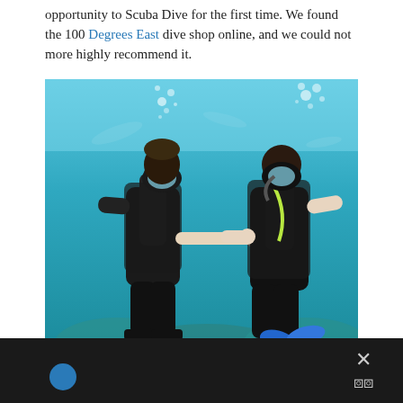opportunity to Scuba Dive for the first time. We found the 100 Degrees East dive shop online, and we could not more highly recommend it.
[Figure (photo): Two scuba divers underwater holding hands, wearing black wetsuits and full scuba gear including tanks, masks, and fins, with blue-green water and coral rocks in the background and bubbles rising to the surface.]